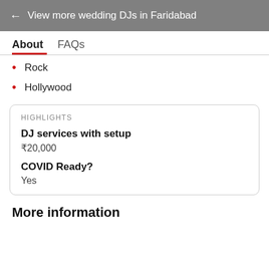← View more wedding DJs in Faridabad
About   FAQs
Rock
Hollywood
HIGHLIGHTS
DJ services with setup
₹20,000
COVID Ready?
Yes
More information